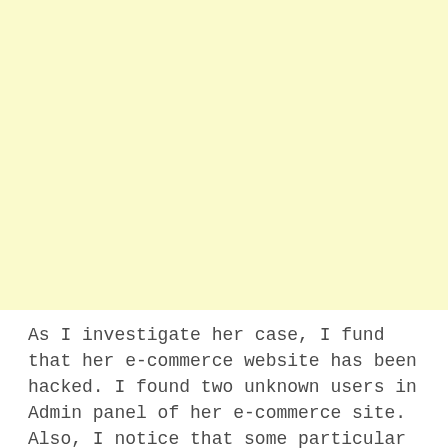[Figure (other): Large blank yellow-tinted area occupying the top portion of the page]
As I investigate her case, I fund that her e-commerce website has been hacked. I found two unknown users in Admin panel of her e-commerce site. Also, I notice that some particular IP address was numerously visited at this web address. Her e-